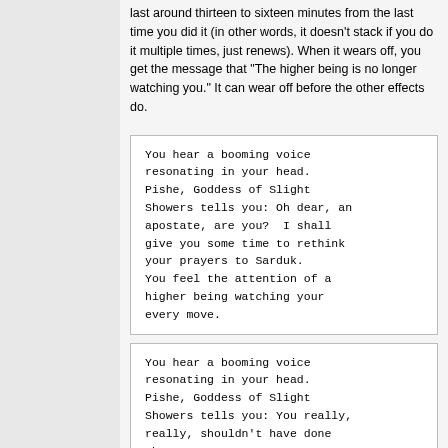last around thirteen to sixteen minutes from the last time you did it (in other words, it doesn't stack if you do it multiple times, just renews). When it wears off, you get the message that "The higher being is no longer watching you." It can wear off before the other effects do.
You hear a booming voice resonating in your head. Pishe, Goddess of Slight Showers tells you: Oh dear, an apostate, are you?  I shall give you some time to rethink your prayers to Sarduk.
You feel the attention of a higher being watching your every move.
You hear a booming voice resonating in your head. Pishe, Goddess of Slight Showers tells you: You really, really, shouldn't have done that.
The higher being takes a renewed interest in your actions.